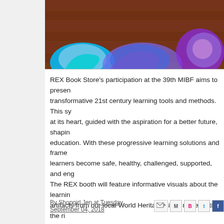[Figure (photo): Partial banner image showing a storefront with brick wall and colorful swirl/wave logos at the bottom]
REX Book Store's participation at the 39th MIBF aims to present transformative 21st century learning tools and methods. This sy at its heart, guided with the aspiration for a better future, shapin education. With these progressive learning solutions and frame learners become safe, healthy, challenged, supported, and eng The REX booth will feature informative visuals about the learnin artifacts from our local World Heritage sites, representing the ri offer free seminars, workshops, a book sale, and book launches The five-day book fair will be held at SMX, Mall of Asia from Se 150,000 people expected to visit. As a token of its appreciation tickets to the 39th MIBF, available via online registration at ww book fair. The first 300 visitors to REX Book Store's booth will r For more info, visit http://www.mibf.rexbookstore.ph
By Shopgirl Jen at Tuesday, September 04, 2018